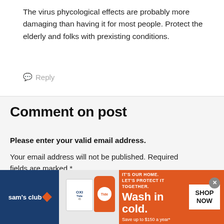The virus phycological effects are probably more damaging than having it for most people. Protect the elderly and folks with prexisting conditions.
Reply
Comment on post
Please enter your valid email address.
Your email address will not be published. Required fields are marked *
Comment *
[Figure (screenshot): Sam's Club advertisement banner for Tide detergent. Orange background with Sam's Club logo on blue left panel, Tide product images, text reading IT'S OUR HOME. LET'S PROTECT IT TOGETHER. Wash in cold. Save up to $150 a year*, and a SHOP NOW button.]